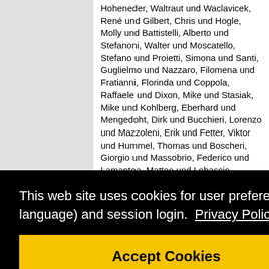Hoheneder, Waltraut und Waclavicek, René und Gilbert, Chris und Hogle, Molly und Battistelli, Alberto und Stefanoni, Walter und Moscatello, Stefano und Proietti, Simona und Santi, Guglielmo und Nazzaro, Filomena und Fratianni, Florinda und Coppola, Raffaele und Dixon, Mike und Stasiak, Mike und Kohlberg, Eberhard und Mengedoht, Dirk und Bucchieri, Lorenzo und Mazzoleni, Erik und Fetter, Viktor und Hummel, Thomas und Boscheri, Giorgio und Massobrio, Federico und Lamantea, Matteo und Lobascio, Cesare und Petrini, Alessandro und Adami, Marco und Bonzano, Giuseppe und Fiore, Lorenzo und Dueck, Tom und Stanghellini, Cecilia und Bochenek, Grazyna und Gilley, Anthony und McKeon, Bennett
This web site uses cookies for user preferences (like language) and session login.  Privacy Policy
Accept Cookies
Zeidler, bert, Daniel und Romberg, Oliver (2016) Current status the EDEN ISS – An Antarctic greenhouse to